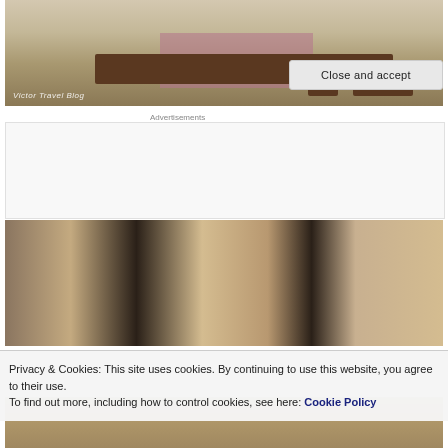[Figure (photo): Interior of a stone church with wooden altar, pews, and red/purple cloth decorations. Watermark reads 'Victor Travel Blog'.]
Advertisements
[Figure (photo): Narrow stone alley between ancient stone walls, viewed looking upward.]
Privacy & Cookies: This site uses cookies. By continuing to use this website, you agree to their use.
To find out more, including how to control cookies, see here: Cookie Policy
Close and accept
[Figure (photo): Stone ground or floor of an ancient site.]